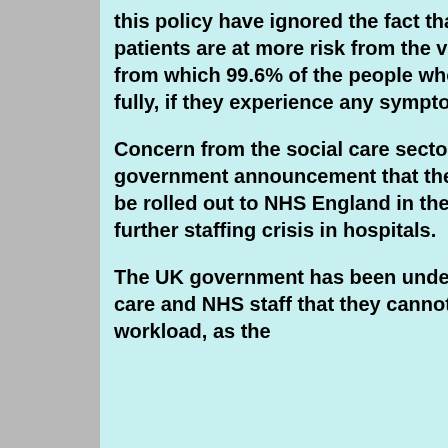this policy have ignored the fact that care home and hospital patients are at more risk from the vaccines than from a disease from which 99.6% of the people who are infected by it, recover fully, if they experience any symptoms at all.
Concern from the social care sector over the mandate follows a government announcement that the inoculation requirement will be rolled out to NHS England in the next few months creating a further staffing crisis in hospitals.
The UK government has been undeterred by warnings from social care and NHS staff that they cannot cope with the current workload, as the